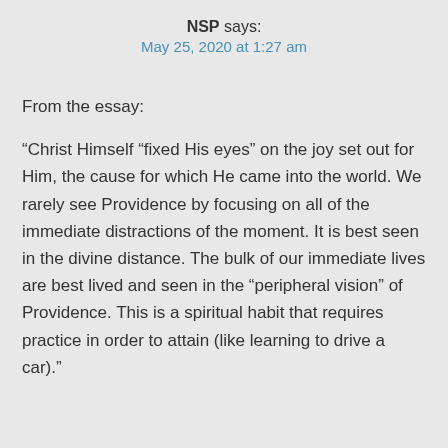NSP says:
May 25, 2020 at 1:27 am
From the essay:
“Christ Himself “fixed His eyes” on the joy set out for Him, the cause for which He came into the world. We rarely see Providence by focusing on all of the immediate distractions of the moment. It is best seen in the divine distance. The bulk of our immediate lives are best lived and seen in the “peripheral vision” of Providence. This is a spiritual habit that requires practice in order to attain (like learning to drive a car).”